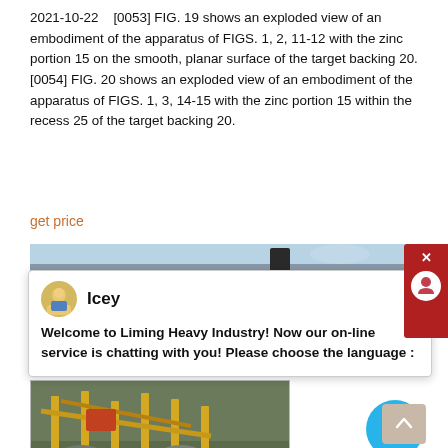2021-10-22   [0053] FIG. 19 shows an exploded view of an embodiment of the apparatus of FIGS. 1, 2, 11-12 with the zinc portion 15 on the smooth, planar surface of the target backing 20. [0054] FIG. 20 shows an exploded view of an embodiment of the apparatus of FIGS. 1, 3, 14-15 with the zinc portion 15 within the recess 25 of the target backing 20.
get price
[Figure (photo): Partial photo strip showing sky and a person in hard hat]
[Figure (screenshot): Chat popup from Liming Heavy Industry with agent Icey saying: Welcome to Liming Heavy Industry! Now our on-line service is chatting with you! Please choose the language :]
[Figure (photo): Industrial mining/crushing machine with yellow frames and conveyor belts outdoors]
TECHNIQUES OF GAS PREPARATIONS, APPARATUS, COLLECTION
Apparatus and method for preparing a sample of ammonia gas.